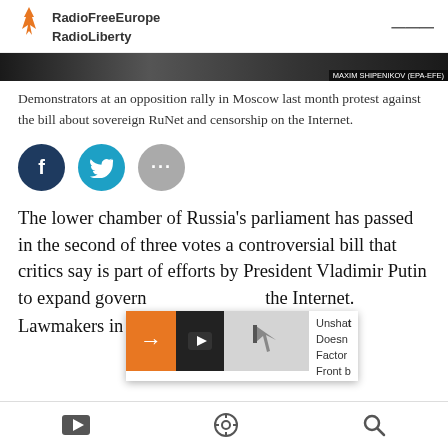RadioFreeEurope RadioLiberty
[Figure (photo): Dark photo strip of demonstrators at a rally with photo credit overlay reading 'MAXIM SHIPENIKOV (EPA-EFE)']
Demonstrators at an opposition rally in Moscow last month protest against the bill about sovereign RuNet and censorship on the Internet.
[Figure (infographic): Social sharing buttons: Facebook (dark blue), Twitter (light blue), More/ellipsis (grey)]
The lower chamber of Russia's parliament has passed in the second of three votes a controversial bill that critics say is part of efforts by President Vladimir Putin to expand government control of the Internet.
[Figure (screenshot): Popup overlay with orange arrow button, video icon, thumbnail image, and partial text reading 'Unshat... Doesn... Factor... Front...']
Lawmakers in the State Duma...
Video | Podcast | Search